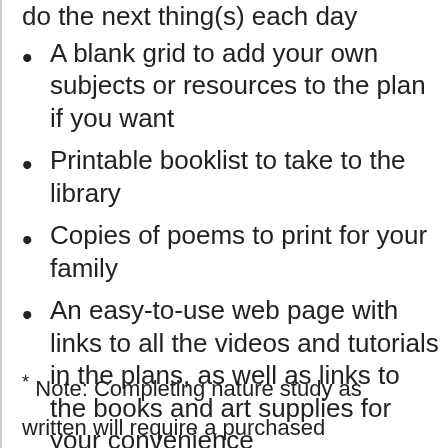do the next thing(s) each day
A blank grid to add your own subjects or resources to the plan if you want
Printable booklist to take to the library
Copies of poems to print for your family
An easy-to-use web page with links to all the videos and tutorials in the plans, as well as links to the books and art supplies for your convenience
* Note: Completing nature study as written will require a purchased